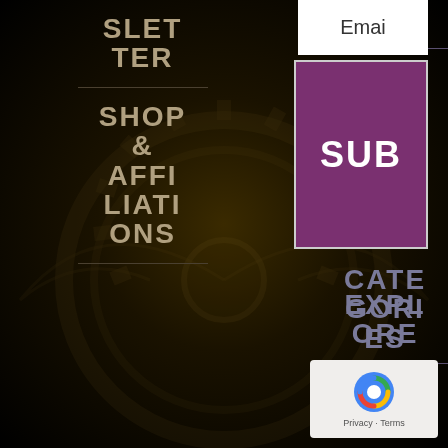NEWSLETTER
SHOP & AFFILIATIONS
EXPLORE MAGAZINE CATEGORIES
Email
SUB
EXPLORE MAGAZINE AZIN
[Figure (screenshot): reCAPTCHA widget with Privacy - Terms text]